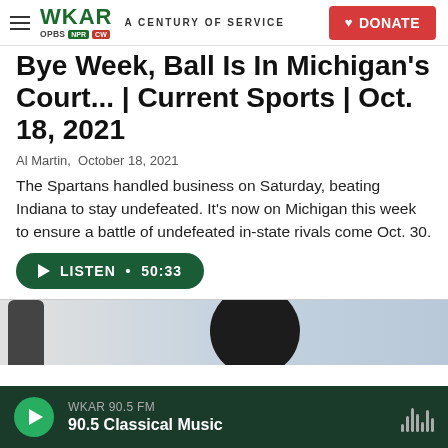WKAR A CENTURY OF SERVICE  |  DONATE
Bye Week, Ball Is In Michigan's Court... | Current Sports | Oct. 18, 2021
Al Martin,  October 18, 2021
The Spartans handled business on Saturday, beating Indiana to stay undefeated. It's now on Michigan this week to ensure a battle of undefeated in-state rivals come Oct. 30.
LISTEN • 50:33
[Figure (photo): Partial image of a person and a phone at the bottom of the page, dark background]
WKAR 90.5 FM  90.5 Classical Music